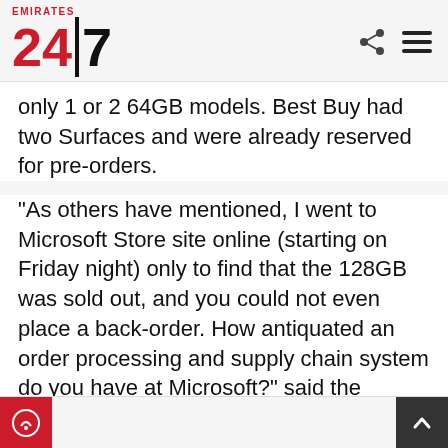Emirates 24|7
only 1 or 2 64GB models. Best Buy had two Surfaces and were already reserved for pre-orders.
“As others have mentioned, I went to Microsoft Store site online (starting on Friday night) only to find that the 128GB was sold out, and you could not even place a back-order. How antiquated an order processing and supply chain system do you have at Microsoft?” said the disgruntled customer.
[Figure (logo): Google News logo icon - blue square with GE text and colorful pages]
Follow Emirates 24|7 on Google News .